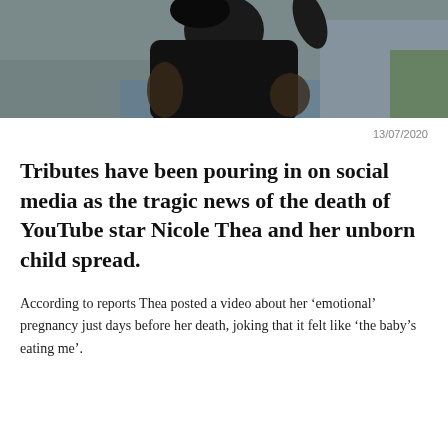[Figure (photo): A woman in a black bodysuit/athletic wear posing outdoors near a pool or fountain area, cropped to show torso and arms.]
13/07/2020
Tributes have been pouring in on social media as the tragic news of the death of YouTube star Nicole Thea and her unborn child spread.
According to reports Thea posted a video about her ‘emotional’ pregnancy just days before her death, joking that it felt like ‘the baby’s eating me’.